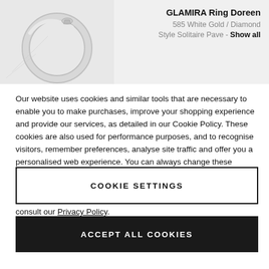[Figure (photo): A diamond ring (GLAMIRA Ring Doreen) shown from the side against a light gray background]
GLAMIRA Ring Doreen
585 White Gold / Diamond
Style Solitaire Pave - Show all
Our website uses cookies and similar tools that are necessary to enable you to make purchases, improve your shopping experience and provide our services, as detailed in our Cookie Policy. These cookies are also used for performance purposes, and to recognise visitors, remember preferences, analyse site traffic and offer you a personalised web experience. You can always change these settings and withdraw your consent by visiting our “Cookie Policy”. By clicking on “Accept all cookies”, you agree to the storing of cookies. To learn more about how we process your data, please consult our Privacy Policy.
COOKIE SETTINGS
ACCEPT ALL COOKIES